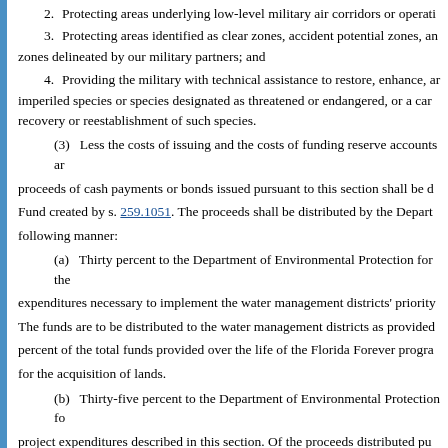2. Protecting areas underlying low-level military air corridors or operating areas;
3. Protecting areas identified as clear zones, accident potential zones, and other zones delineated by our military partners; and
4. Providing the military with technical assistance to restore, enhance, and protect imperiled species or species designated as threatened or endangered, or a candidate for recovery or reestablishment of such species.
(3) Less the costs of issuing and the costs of funding reserve accounts and, the proceeds of cash payments or bonds issued pursuant to this section shall be deposited in the Fund created by s. 259.1051. The proceeds shall be distributed by the Department in the following manner:
(a) Thirty percent to the Department of Environmental Protection for the expenditures necessary to implement the water management districts' priority list. The funds are to be distributed to the water management districts as provided, no more than percent of the total funds provided over the life of the Florida Forever program, for the acquisition of lands.
(b) Thirty-five percent to the Department of Environmental Protection for project expenditures described in this section. Of the proceeds distributed pursuant to the Legislature that an increased priority be given to those acquisitions which goals, including protecting Florida's water resources and natural groundwater no more than 10 percent, of the funds allocated pursuant to this paragraph shall be identified during the time of acquisition which meet land management planning. Beginning in the 2017-2018 fiscal year and continuing through the 2026-2027 fiscal year, funds allocated pursuant to this paragraph shall be apportioned among at least...